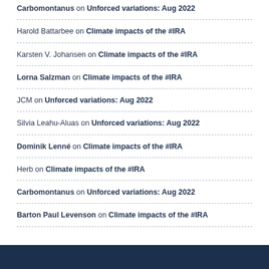Carbomontanus on Unforced variations: Aug 2022
Harold Battarbee on Climate impacts of the #IRA
Karsten V. Johansen on Climate impacts of the #IRA
Lorna Salzman on Climate impacts of the #IRA
JCM on Unforced variations: Aug 2022
Silvia Leahu-Aluas on Unforced variations: Aug 2022
Dominik Lenné on Climate impacts of the #IRA
Herb on Climate impacts of the #IRA
Carbomontanus on Unforced variations: Aug 2022
Barton Paul Levenson on Climate impacts of the #IRA